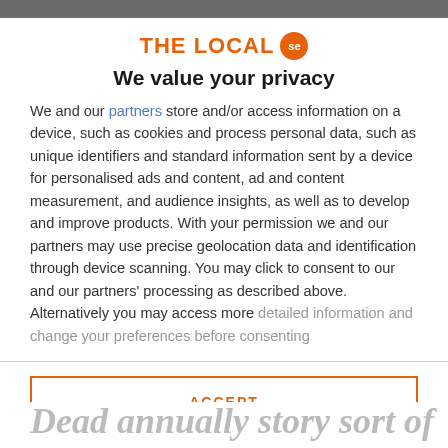[Figure (logo): The Local SE logo with orange text and orange circular badge with 'se' text]
We value your privacy
We and our partners store and/or access information on a device, such as cookies and process personal data, such as unique identifiers and standard information sent by a device for personalised ads and content, ad and content measurement, and audience insights, as well as to develop and improve products. With your permission we and our partners may use precise geolocation data and identification through device scanning. You may click to consent to our and our partners' processing as described above. Alternatively you may access more detailed information and change your preferences before consenting
ACCEPT
MORE OPTIONS
Dead annually story sort of